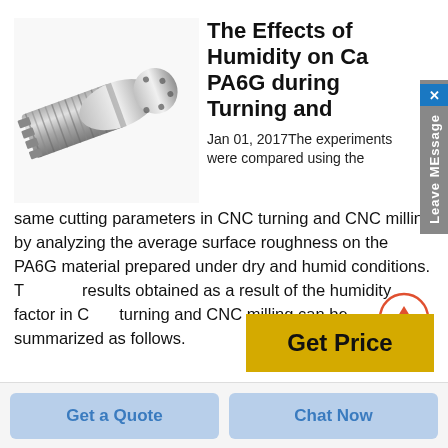[Figure (photo): A metallic cylindrical CNC-turned part with threaded/ribbed exterior and smooth bore end, shown at an angle on white background.]
The Effects of Humidity on Ca PA6G during Turning and
Jan 01, 2017The experiments were compared using the same cutting parameters in CNC turning and CNC milling by analyzing the average surface roughness on the PA6G material prepared under dry and humid conditions. The results obtained as a result of the humidity factor in CNC turning and CNC milling can be summarized as follows.
Get Price
Get a Quote
Chat Now